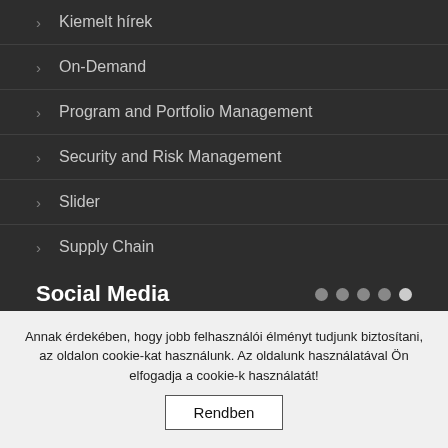> Kiemelt hírek
> On-Demand
> Program and Portfolio Management
> Security and Risk Management
> Slider
> Supply Chain
Social Media
Annak érdekében, hogy jobb felhasználói élményt tudjunk biztosítani, az oldalon cookie-kat használunk. Az oldalunk használatával Ön elfogadja a cookie-k használatát!